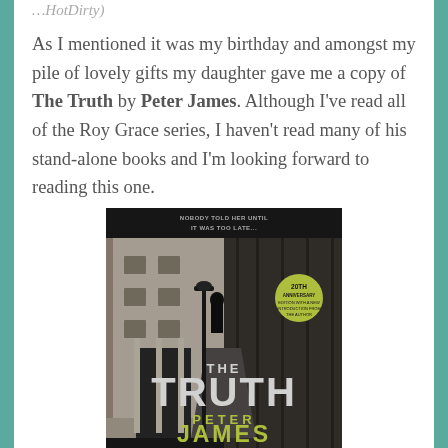As I mentioned it was my birthday and amongst my pile of lovely gifts my daughter gave me a copy of The Truth by Peter James. Although I've read all of the Roy Grace series, I haven't read many of his stand-alone books and I'm looking forward to reading this one.
[Figure (photo): Book cover of 'The Truth' by Peter James. Dark street alley scene in black and white with tagline 'Nobody told her until it was too late...' at top, a yellow 20th Anniversary Edition badge, large white title 'THE TRUTH', and yellow author name 'PETER JAMES' at the bottom.]